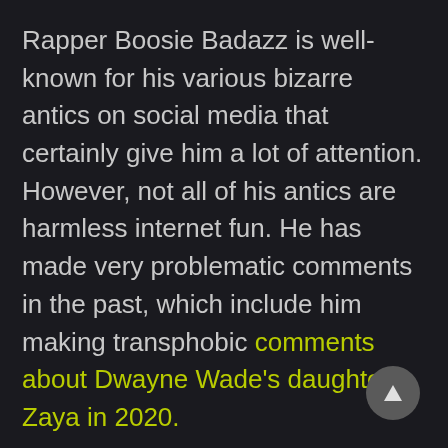Rapper Boosie Badazz is well-known for his various bizarre antics on social media that certainly give him a lot of attention. However, not all of his antics are harmless internet fun. He has made very problematic comments in the past, which include him making transphobic comments about Dwayne Wade's daughter Zaya in 2020.